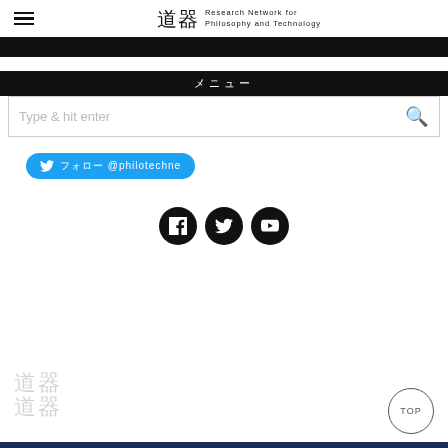Research Network for Philosophy and Technology
[Figure (screenshot): Black navigation banner bar]
メニュー
[Figure (screenshot): Search box with placeholder text 'Type & hit enter' and search icon]
[Figure (infographic): Twitter follow button: @philotechne]
[Figure (infographic): Social media icons row: Facebook, Twitter, YouTube]
[Figure (logo): Research Network for Philosophy and Technology logo watermark]
[Figure (infographic): TOP scroll-to-top button circle]